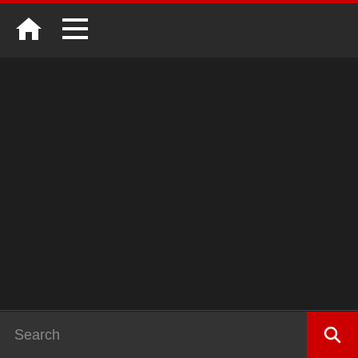Navigation bar with home icon and menu icon
Leave a Reply
You must be logged in to post a comment.
We use cookies to ensure that we give you the best experience on our website. If you continue to use this site we will assume that you are happy with it.
I understand  Privacy policy
Search